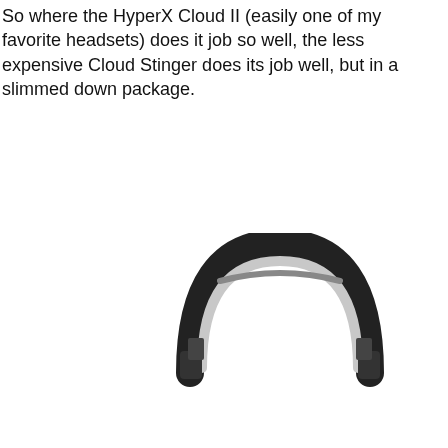So where the HyperX Cloud II (easily one of my favorite headsets) does it job so well, the less expensive Cloud Stinger does its job well, but in a slimmed down package.
[Figure (photo): Close-up photo of a gaming headset headband, showing the top arc of the headset in black and silver/white colors against a white background.]